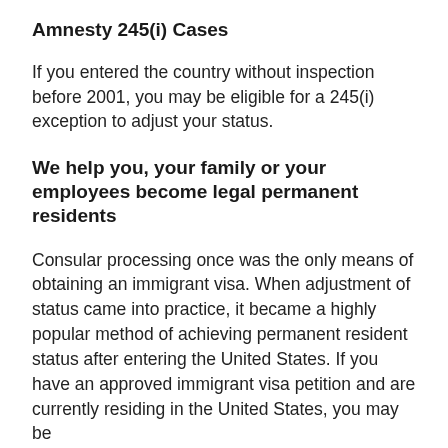Amnesty 245(i) Cases
If you entered the country without inspection before 2001, you may be eligible for a 245(i) exception to adjust your status.
We help you, your family or your employees become legal permanent residents
Consular processing once was the only means of obtaining an immigrant visa. When adjustment of status came into practice, it became a highly popular method of achieving permanent resident status after entering the United States. If you have an approved immigrant visa petition and are currently residing in the United States, you may be